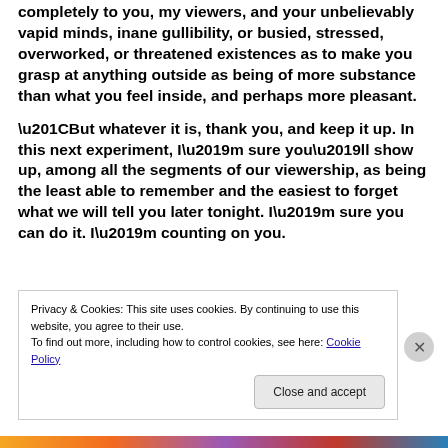completely to you, my viewers, and your unbelievably vapid minds, inane gullibility, or busied, stressed, overworked, or threatened existences as to make you grasp at anything outside as being of more substance than what you feel inside, and perhaps more pleasant.
“But whatever it is, thank you, and keep it up. In this next experiment, I’m sure you’ll show up, among all the segments of our viewership, as being the least able to remember and the easiest to forget what we will tell you later tonight. I’m sure you can do it. I’m counting on you.
Privacy & Cookies: This site uses cookies. By continuing to use this website, you agree to their use.
To find out more, including how to control cookies, see here: Cookie Policy
Close and accept